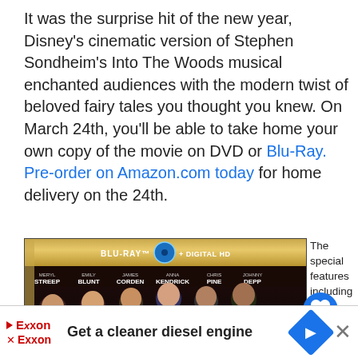It was the surprise hit of the new year, Disney's cinematic version of Stephen Sondheim's Into The Woods musical enchanted audiences with the modern twist of beloved fairy tales you thought you knew. On March 24th, you'll be able to take home your own copy of the movie on DVD or Blu-Ray. Pre-order on Amazon.com today for home delivery on the 24th.
[Figure (photo): Disney's Into The Woods Blu-Ray + Digital HD cover showing cast members Meryl Streep, Emily Blunt, James Corden, Anna Kendrick, Chris Pine, Johnny Depp]
The special features including an exclusive, never before-seen original written movie by
[Figure (screenshot): UI overlay buttons: heart (favorite) button in blue circle, share button; What's Next panel showing Big Hero 6 Trailer thumbnail]
[Figure (photo): Exxon advertisement banner: Get a cleaner diesel engine, with Exxon logo and navigation icon]